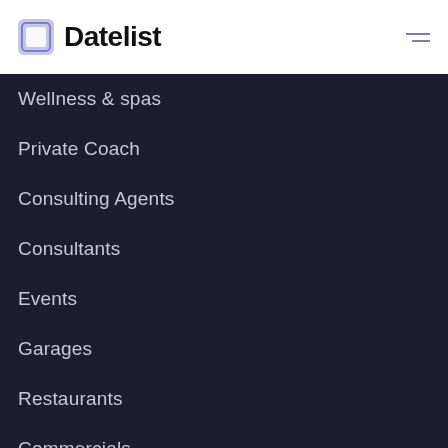Datelist
Wellness & spas
Private Coach
Consulting Agents
Consultants
Events
Garages
Restaurants
Commercials
Photographers